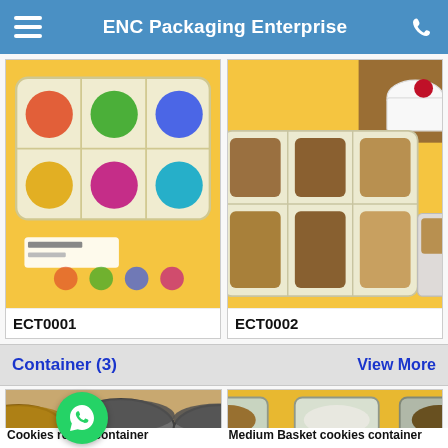ENC Packaging Enterprise
[Figure (photo): Packaging tray product ECT0001 shown on yellow background with colorful candy/food items in clear tray]
ECT0001
[Figure (photo): Packaging tray product ECT0002 shown on yellow background with mooncake/pastry items in clear segmented tray]
ECT0002
Container (3)
View More
[Figure (photo): Cookies round container product photo showing gold and clear round containers on brown surface]
Cookies round container
[Figure (photo): Medium Basket cookies container product photo showing clear basket containers with cookies on yellow surface]
Medium Basket cookies container